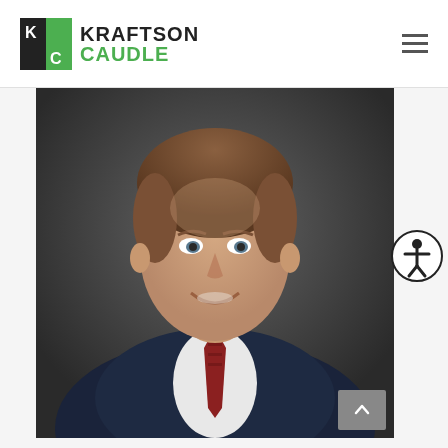Kraftson Caudle
[Figure (photo): Professional headshot of a man in a dark navy suit with a light shirt and patterned tie, smiling, against a dark grey background. This appears to be an attorney profile photo for Kraftson Caudle law firm.]